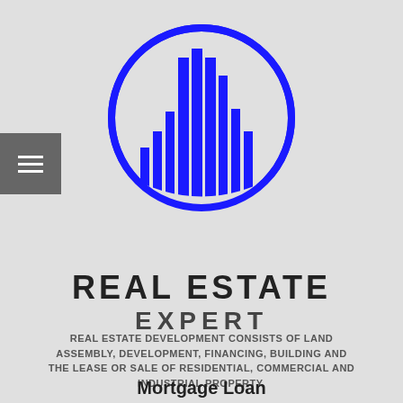[Figure (logo): Real Estate Expert logo: blue circle outline containing blue stylized building/skyscraper silhouette made of vertical bars]
REAL ESTATE
EXPERT
REAL ESTATE DEVELOPMENT CONSISTS OF LAND ASSEMBLY, DEVELOPMENT, FINANCING, BUILDING AND THE LEASE OR SALE OF RESIDENTIAL, COMMERCIAL AND INDUSTRIAL PROPERTY.
Mortgage Loan